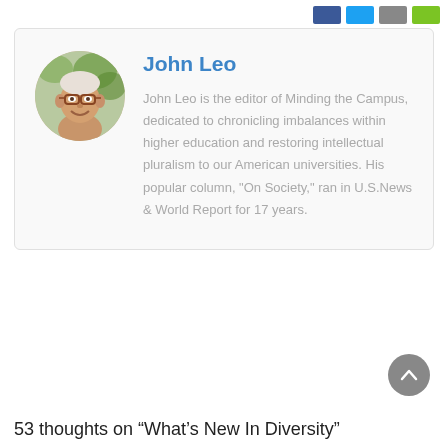[Figure (other): Author photo of John Leo — a smiling older man with white hair and brown glasses, in front of green foliage, in a circular crop]
John Leo
John Leo is the editor of Minding the Campus, dedicated to chronicling imbalances within higher education and restoring intellectual pluralism to our American universities. His popular column, "On Society," ran in U.S.News & World Report for 17 years.
53 thoughts on “What’s New In Diversity”